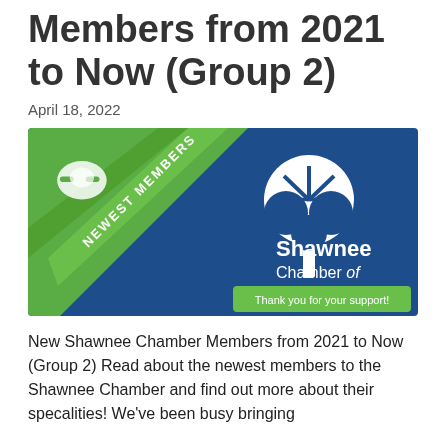Members from 2021 to Now (Group 2)
April 18, 2022
[Figure (illustration): Shawnee Chamber of Commerce banner: blue background with white tree logo and handshake icon, green diagonal ribbon with 'NEWEST MEMBERS' text, green bar reading 'Thank you for your support!']
New Shawnee Chamber Members from 2021 to Now (Group 2) Read about the newest members to the Shawnee Chamber and find out more about their specalities! We've been busy bringing